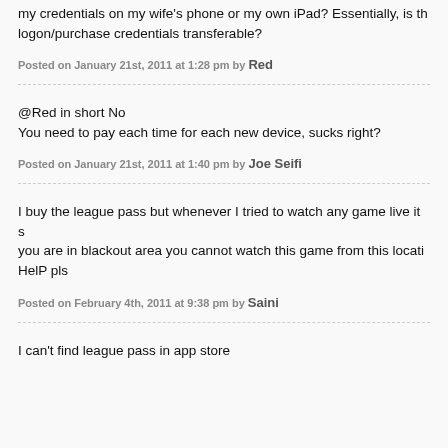my credentials on my wife's phone or my own iPad? Essentially, is the logon/purchase credentials transferable?
Posted on January 21st, 2011 at 1:28 pm by Red
@Red in short No
You need to pay each time for each new device, sucks right?
Posted on January 21st, 2011 at 1:40 pm by Joe Seifi
I buy the league pass but whenever I tried to watch any game live it s... you are in blackout area you cannot watch this game from this locatio... HelP pls
Posted on February 4th, 2011 at 9:38 pm by Saini
I can't find league pass in app store